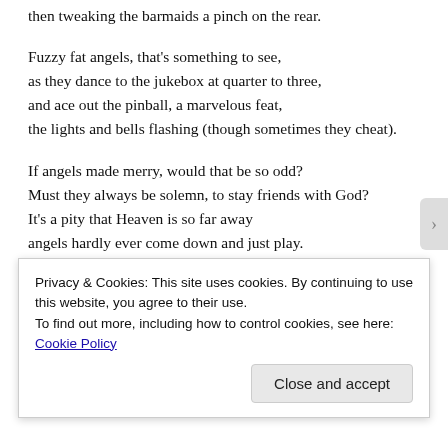then tweaking the barmaids a pinch on the rear.
Fuzzy fat angels, that's something to see,
as they dance to the jukebox at quarter to three,
and ace out the pinball, a marvelous feat,
the lights and bells flashing (though sometimes they cheat).
If angels made merry, would that be so odd?
Must they always be solemn, to stay friends with God?
It's a pity that Heaven is so far away
angels hardly ever come down and just play.
Geoffrey A. Landis writes: “It’s impossible to chose just one
Privacy & Cookies: This site uses cookies. By continuing to use this website, you agree to their use.
To find out more, including how to control cookies, see here: Cookie Policy
Close and accept